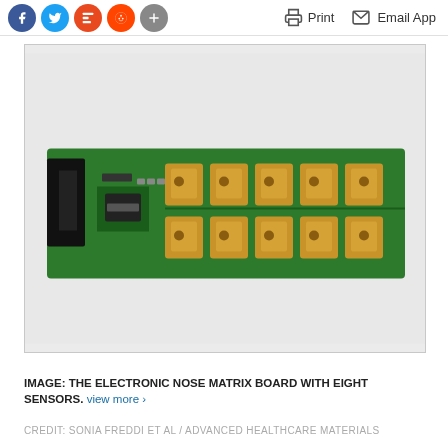Social icons (Facebook, Twitter, Mix, Reddit, More) | Print | Email App
[Figure (photo): Photograph of an electronic nose matrix board — a green PCB with a black USB connector on the left and two rows of eight gold/tan sensor pads arranged across the board.]
IMAGE: THE ELECTRONIC NOSE MATRIX BOARD WITH EIGHT SENSORS. view more ›
CREDIT: SONIA FREDDI ET AL / ADVANCED HEALTHCARE MATERIALS